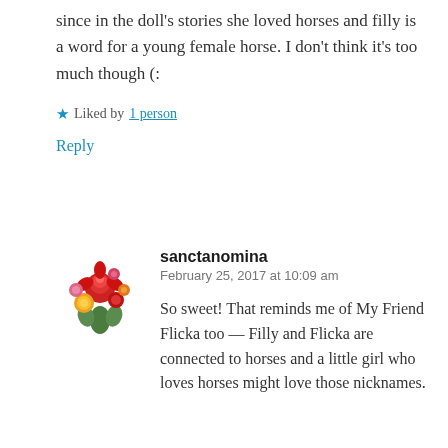since in the doll's stories she loved horses and filly is a word for a young female horse. I don't think it's too much though (:
★ Liked by 1 person
Reply
sanctanomina
February 25, 2017 at 10:09 am
So sweet! That reminds me of My Friend Flicka too — Filly and Flicka are connected to horses and a little girl who loves horses might love those nicknames.